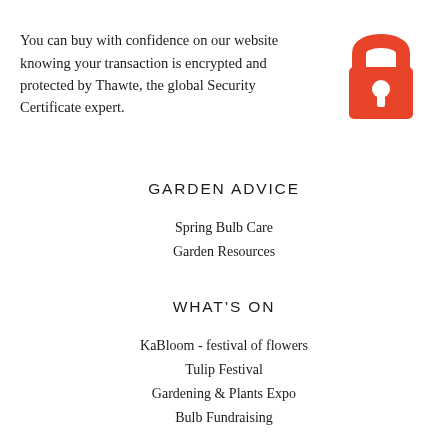You can buy with confidence on our website knowing your transaction is encrypted and protected by Thawte, the global Security Certificate expert.
[Figure (illustration): Red padlock icon representing security/encryption]
GARDEN ADVICE
Spring Bulb Care
Garden Resources
WHAT'S ON
KaBloom - festival of flowers
Tulip Festival
Gardening & Plants Expo
Bulb Fundraising